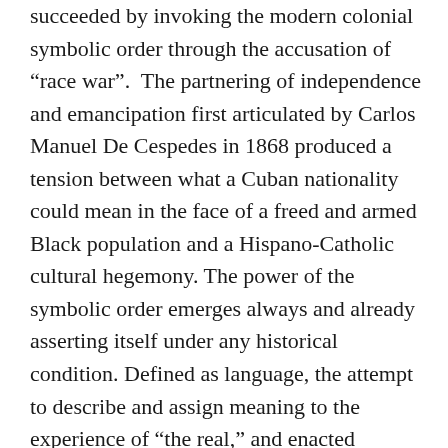succeeded by invoking the modern colonial symbolic order through the accusation of “race war”.  The partnering of independence and emancipation first articulated by Carlos Manuel De Cespedes in 1868 produced a tension between what a Cuban nationality could mean in the face of a freed and armed Black population and a Hispano-Catholic cultural hegemony. The power of the symbolic order emerges always and already asserting itself under any historical condition. Defined as language, the attempt to describe and assign meaning to the experience of “the real,” and enacted through the formal and informal uses of language by institutions and individuals, people perform the symbolic order through custom and habit.  We reproduce the symbolic order through law, education, commerce, customary behaviors, and the myriad conscious and unconscious retellings of the “...legends, stories, history,